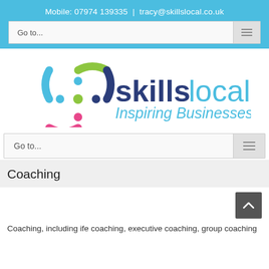Mobile: 07974 139335 | tracy@skillslocal.co.uk
[Figure (logo): skillslocal logo with colorful circular icon and text 'skillslocal Inspiring Businesses']
Coaching
Coaching, including ife coaching, executive coaching, group coaching